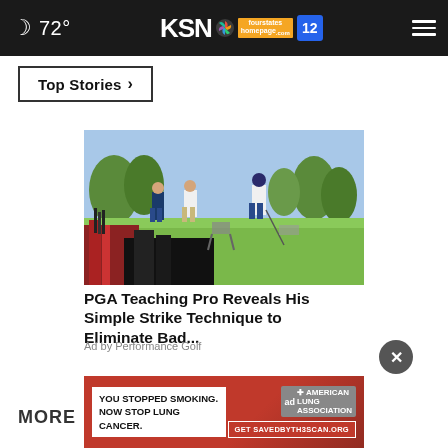72° | KSN fourstates homepage.com 12
Top Stories ›
[Figure (photo): People on a golf course, one person bent over golf clubs in the foreground, two others standing in the background on green grass]
PGA Teaching Pro Reveals His Simple Strike Technique to Eliminate Bad...
Ad by Performance Golf
[Figure (infographic): Red banner ad: YOU STOPPED SMOKING. NOW STOP LUNG CANCER. American Lung Association. Get SAVEDBYTH3SCAN.ORG]
MORE